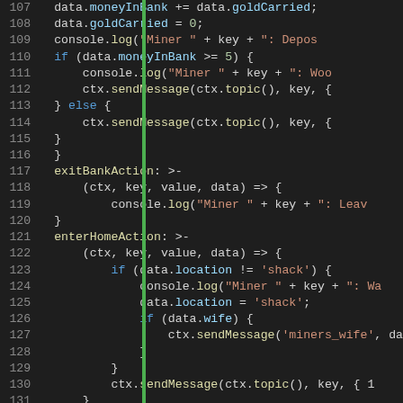[Figure (screenshot): Code editor screenshot showing JavaScript code lines 107-137 with syntax highlighting. Line numbers in gray on left, green vertical bar accent, code with colored tokens on dark background.]